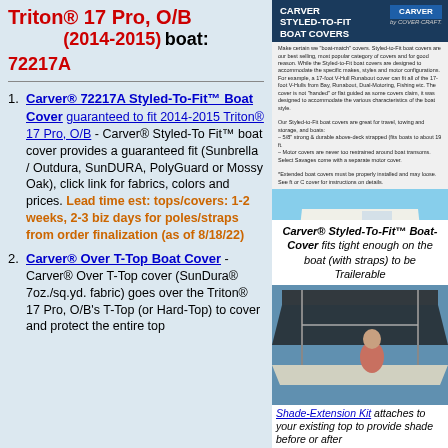Triton® 17 Pro, O/B (2014-2015) boat:
72217A
Carver® 72217A Styled-To-Fit™ Boat Cover guaranteed to fit 2014-2015 Triton® 17 Pro, O/B - Carver® Styled-To Fit™ boat cover provides a guaranteed fit (Sunbrella / Outdura, SunDURA, PolyGuard or Mossy Oak), click link for fabrics, colors and prices. Lead time est: tops/covers: 1-2 weeks, 2-3 biz days for poles/straps from order finalization (as of 8/18/22)
Carver® Over T-Top Boat Cover - Carver® Over T-Top cover (SunDura® 7oz./sq.yd. fabric) goes over the Triton® 17 Pro, O/B's T-Top (or Hard-Top) to cover and protect the entire top
[Figure (photo): Carver Styled-To-Fit Boat Covers advertisement showing a white boat on a trailer]
Carver® Styled-To-Fit™ Boat-Cover fits tight enough on the boat (with straps) to be Trailerable
[Figure (photo): Photo of a boat with T-Top shade extension showing a woman on board]
Shade-Extension Kit attaches to your existing top to provide shade before or after...